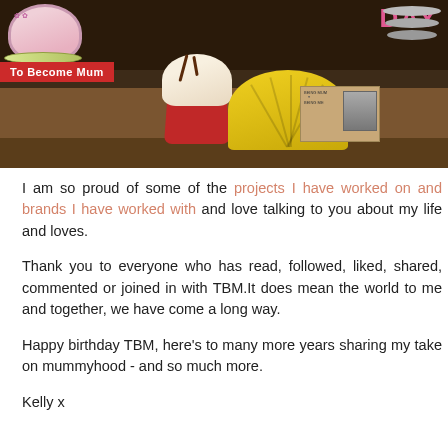[Figure (photo): Photo of a birthday/celebration table setting with a red velvet cupcake with cream and chocolate drizzle topping, a yellow paper fan decoration, a 'Being Mum Being Me' branded card/coaster with a photo of two people, a pink floral teacup, grey plates, and a pink birthday card visible in the background. A red ribbon banner reads 'To Become Mum'.]
I am so proud of some of the projects I have worked on and brands I have worked with and love talking to you about my life and loves.
Thank you to everyone who has read, followed, liked, shared, commented or joined in with TBM.It does mean the world to me and together, we have come a long way.
Happy birthday TBM, here's to many more years sharing my take on mummyhood - and so much more.
Kelly x